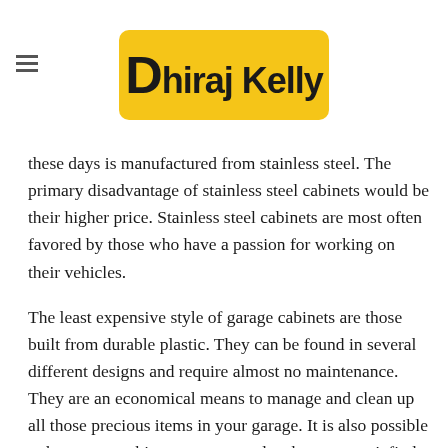Dhiraj Kelly
these days is manufactured from stainless steel. The primary disadvantage of stainless steel cabinets would be their higher price. Stainless steel cabinets are most often favored by those who have a passion for working on their vehicles.
The least expensive style of garage cabinets are those built from durable plastic. They can be found in several different designs and require almost no maintenance. They are an economical means to manage and clean up all those precious items in your garage. It is also possible to have your cabinets custom made when you can't find exactly what you need to fulfill your storage requirements. Although custom cabinets are apt to to be more expensive, frequently the unique solution they provide is worth the extra money. Garage cabinets can provide you a simple approach to properly care